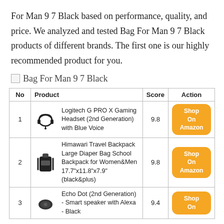For Man 9 7 Black based on performance, quality, and price. We analyzed and tested Bag For Man 9 7 Black products of different brands. The first one is our highly recommended product for you.
[Figure (other): Broken image placeholder labeled 'Bag For Man 9 7 Black']
| No | Product | Score | Action |
| --- | --- | --- | --- |
| 1 | Logitech G PRO X Gaming Headset (2nd Generation) with Blue Voice | 9.8 | Shop On Amazon |
| 2 | Himawari Travel Backpack Large Diaper Bag School Backpack for Women&Men 17.7"x11.8"x7.9" (black&plus) | 9.8 | Shop On Amazon |
| 3 | Echo Dot (2nd Generation) - Smart speaker with Alexa - Black | 9.4 | Shop On |